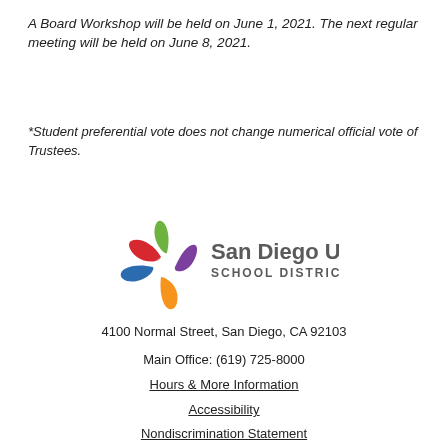A Board Workshop will be held on June 1, 2021. The next regular meeting will be held on June 8, 2021.
*Student preferential vote does not change numerical official vote of Trustees.
[Figure (logo): San Diego Unified School District logo — a colorful pinwheel/star with red, green, blue, purple, and orange petals, with the text 'San Diego Unified SCHOOL DISTRICT' to the right.]
4100 Normal Street, San Diego, CA 92103
Main Office: (619) 725-8000
Hours & More Information
Accessibility
Nondiscrimination Statement